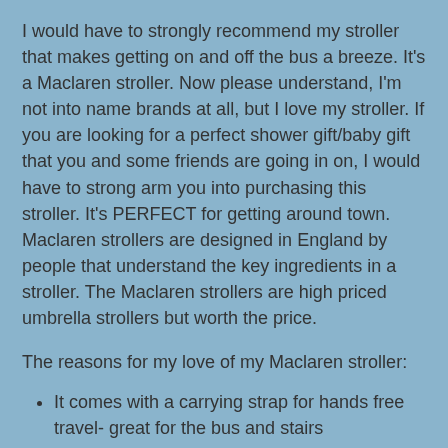I would have to strongly recommend my stroller that makes getting on and off the bus a breeze. It's a Maclaren stroller. Now please understand, I'm not into name brands at all, but I love my stroller. If you are looking for a perfect shower gift/baby gift that you and some friends are going in on, I would have to strong arm you into purchasing this stroller. It's PERFECT for getting around town. Maclaren strollers are designed in England by people that understand the key ingredients in a stroller. The Maclaren strollers are high priced umbrella strollers but worth the price.
The reasons for my love of my Maclaren stroller:
It comes with a carrying strap for hands free travel- great for the bus and stairs
It is lightweight
All models in 2005 have a canopy to protect your baby from the sun
All are designed tall so no more bending over to push